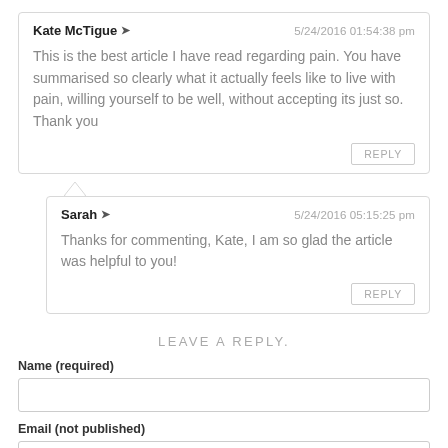Kate McTigue → 5/24/2016 01:54:38 pm
This is the best article I have read regarding pain. You have summarised so clearly what it actually feels like to live with pain, willing yourself to be well, without accepting its just so. Thank you
REPLY
Sarah → 5/24/2016 05:15:25 pm
Thanks for commenting, Kate, I am so glad the article was helpful to you!
REPLY
LEAVE A REPLY.
Name (required)
Email (not published)